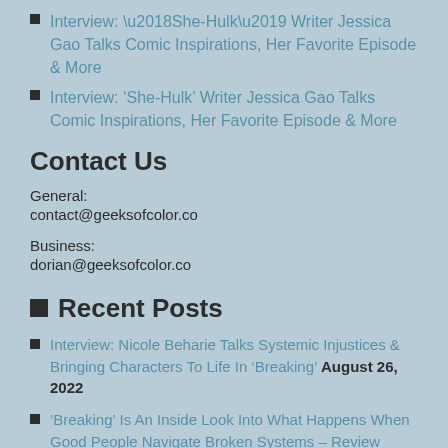Interview: ‘She-Hulk’ Writer Jessica Gao Talks Comic Inspirations, Her Favorite Episode & More
Contact Us
General:
contact@geeksofcolor.co
Business:
dorian@geeksofcolor.co
Recent Posts
Interview: Nicole Beharie Talks Systemic Injustices & Bringing Characters To Life In ‘Breaking’ August 26, 2022
‘Breaking’ Is An Inside Look Into What Happens When Good People Navigate Broken Systems – Review August 25, 2022